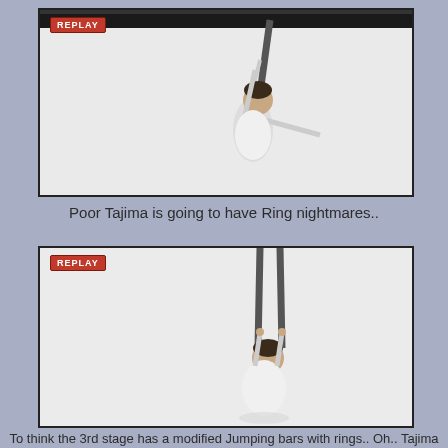[Figure (photo): Video replay screenshot showing a person hanging from a horizontal bar or rings, arms extended upward, wearing a white sleeveless shirt, light background, with a REPLAY badge in the upper left corner.]
Poor Tajima is going to have Ring nightmares..
[Figure (photo): Second video replay screenshot showing a person gripping two hanging bars/rings, dark hair visible, wearing a white shirt, with a REPLAY badge in the upper left corner, light background.]
To think the 3rd stage has a modified Jumping bars with rings.. Oh.. Tajima has a few sleepless months ahead of him..